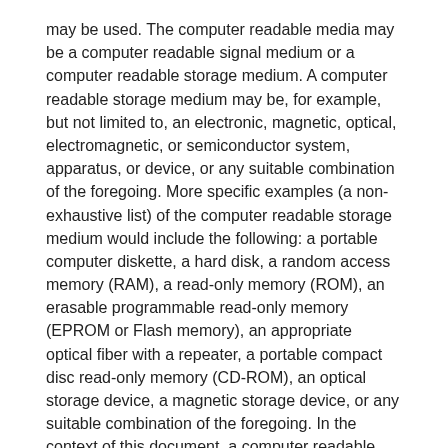may be used. The computer readable media may be a computer readable signal medium or a computer readable storage medium. A computer readable storage medium may be, for example, but not limited to, an electronic, magnetic, optical, electromagnetic, or semiconductor system, apparatus, or device, or any suitable combination of the foregoing. More specific examples (a non-exhaustive list) of the computer readable storage medium would include the following: a portable computer diskette, a hard disk, a random access memory (RAM), a read-only memory (ROM), an erasable programmable read-only memory (EPROM or Flash memory), an appropriate optical fiber with a repeater, a portable compact disc read-only memory (CD-ROM), an optical storage device, a magnetic storage device, or any suitable combination of the foregoing. In the context of this document, a computer readable storage medium may be any medium that can contain, or store a program for use by or in connection with a machine readable instruction execution system, apparatus, or device.
A computer readable signal medium may include a propagated data signal with computer readable program